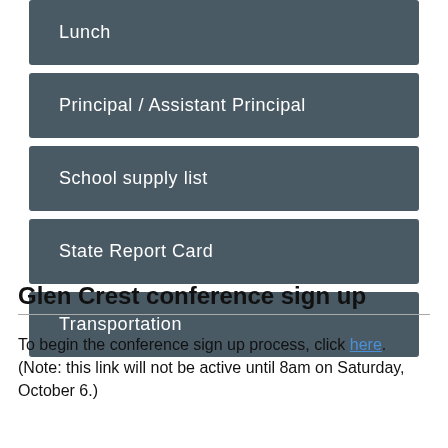Lunch
Principal / Assistant Principal
School supply list
State Report Card
Transportation
Glen Crest conference sign up
To begin the conference sign up process, click here. (Note: this link will not be active until 8am on Saturday, October 6.)